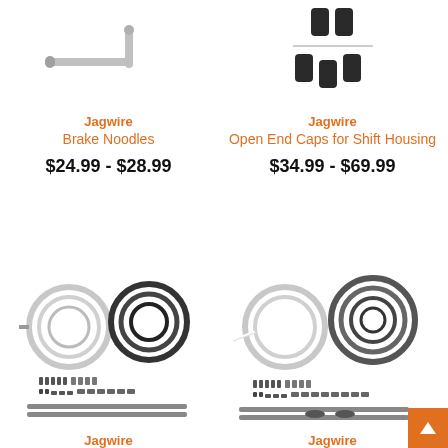[Figure (photo): Jagwire Brake Noodles product image - L-shaped metal noodle/cable guide]
[Figure (photo): Jagwire Open End Caps for Shift Housing - small black cylindrical end caps]
Jagwire
Brake Noodles
Jagwire
Open End Caps for Shift Housing
$24.99 - $28.99
$34.99 - $69.99
[Figure (photo): Jagwire bicycle cable kit with coiled cables and small parts]
[Figure (photo): Jagwire bicycle cable kit with coiled cables including white cable and small parts]
Jagwire
Jagwire